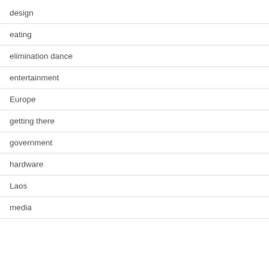design
eating
elimination dance
entertainment
Europe
getting there
government
hardware
Laos
media